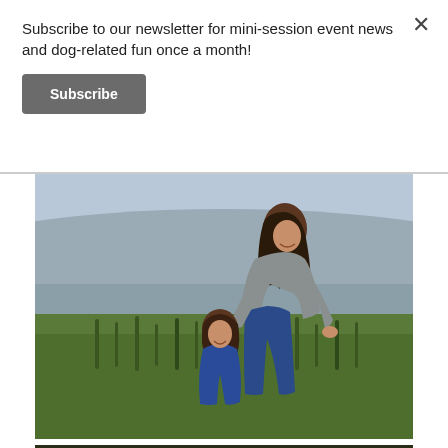Subscribe to our newsletter for mini-session event news and dog-related fun once a month!
Subscribe
[Figure (photo): A woman with dark hair smiling and leaning over a young boy in a green grass field with a scenic landscape in the background. Both are wearing blue.]
[Figure (photo): Partial view of another photo at the bottom of the page.]